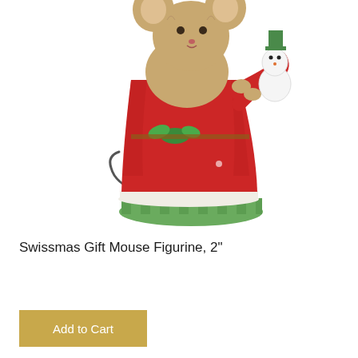[Figure (photo): A mouse figurine wearing a red Christmas dress with white trim and green striped base, holding a small snowman. The mouse has large ears and a curled tail visible. The figurine appears to be a collectible holiday decoration approximately 2 inches tall.]
Swissmas Gift Mouse Figurine, 2"
Add to Cart